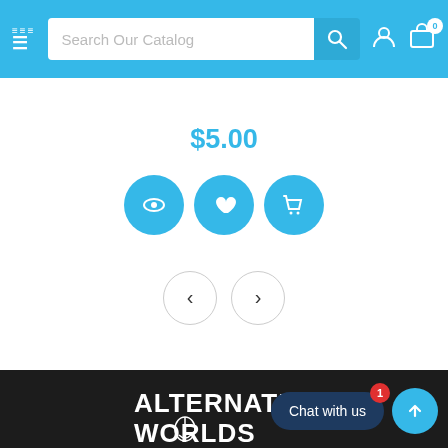Search Our Catalog
$5.00
[Figure (screenshot): Three circular blue action buttons: eye/view icon, heart/wishlist icon, and shopping cart icon]
[Figure (screenshot): Navigation previous (<) and next (>) arrow buttons in circular outlines]
[Figure (logo): Alternate Worlds logo in white text on dark background]
[Figure (infographic): Location pin icon in a circle]
10854 York Rd
Chat with us